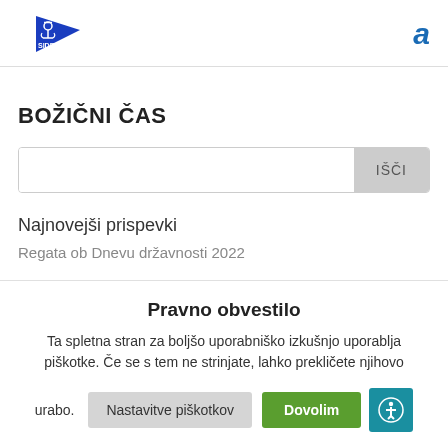SIDRO logo | a
BOŽIČNI ČAS
Search input with Išči button
Najnovejši prispevki
Regata ob Dnevu državnosti 2022
Pravno obvestilo
Ta spletna stran za boljšo uporabniško izkušnjo uporablja piškotke. Če se s tem ne strinjate, lahko prekličete njihovo urabo.
Nastavitve piškotkov | Dovolim